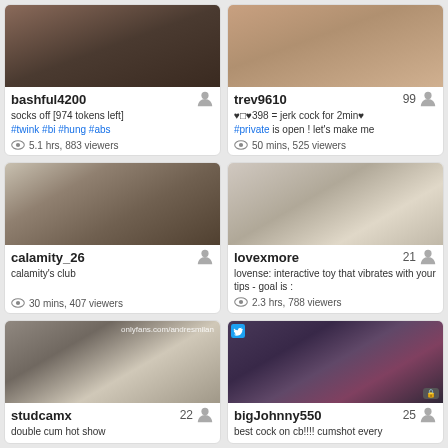[Figure (screenshot): Webcam thumbnail for bashful4200]
bashful4200 — socks off [974 tokens left] #twink #bi #hung #abs — 5.1 hrs, 883 viewers
[Figure (screenshot): Webcam thumbnail for trev9610]
trev9610 99 — ♥□♥398 = jerk cock for 2min♥ #private is open ! let's make me — 50 mins, 525 viewers
[Figure (screenshot): Webcam thumbnail for calamity_26]
calamity_26 — calamity's club — 30 mins, 407 viewers
[Figure (screenshot): Webcam thumbnail for lovexmore]
lovexmore 21 — lovense: interactive toy that vibrates with your tips - goal is : — 2.3 hrs, 788 viewers
[Figure (screenshot): Webcam thumbnail for studcamx with onlyfans.com/andresmilan watermark]
studcamx 22 — double cum hot show
[Figure (screenshot): Webcam thumbnail for bigJohnny550 with Twitter icon]
bigJohnny550 25 — best cock on cb!!!! cumshot every